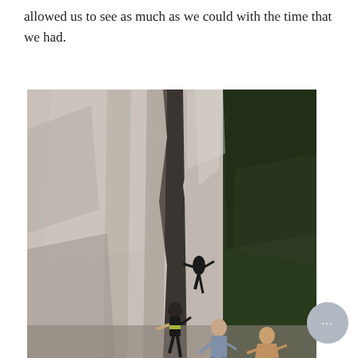allowed us to see as much as we could with the time that we had.
[Figure (photo): Rock climbers on a steep granite cliff face in a canyon, with dense green trees visible on the right side. One person is visible clinging to the rock wall in the middle section, and two or three people are at the base of the cliff.]
[Figure (other): Chat/comment button - circular grey button with three dots (ellipsis) in the lower right corner of the page]